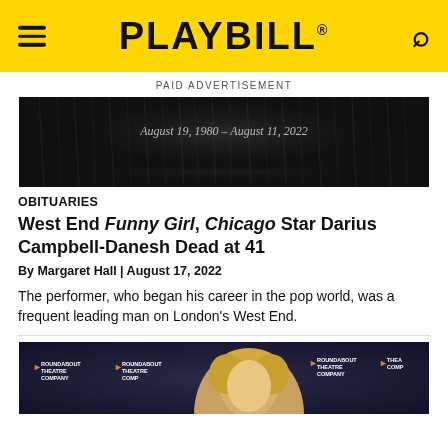PLAYBILL
PAID ADVERTISEMENT
[Figure (photo): Dark theatrical curtain backdrop with text 'August 19, 1980 – August 11, 2022' overlaid in the center]
OBITUARIES
West End Funny Girl, Chicago Star Darius Campbell-Danesh Dead at 41
By Margaret Hall | August 17, 2022
The performer, who began his career in the pop world, was a frequent leading man on London's West End.
[Figure (photo): Person with blonde hair at a Roundabout Theatre Company event, standing in front of branded backdrop]